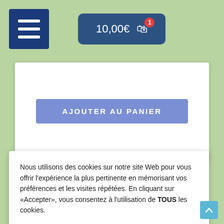[Figure (screenshot): Top navigation bar with hamburger menu icon and shopping cart button showing 10,00€ with badge of 1]
[Figure (screenshot): White card with 'AJOUTER AU PANIER' button in purple-blue]
[Figure (photo): Photo of colorful children's toys on stone/pebble background including a yellow star shape and colorful rings]
Nous utilisons des cookies sur notre site Web pour vous offrir l'expérience la plus pertinente en mémorisant vos préférences et les visites répétées. En cliquant sur «Accepter», vous consentez à l'utilisation de TOUS les cookies.
Gestion des cookies
ACCEPTER